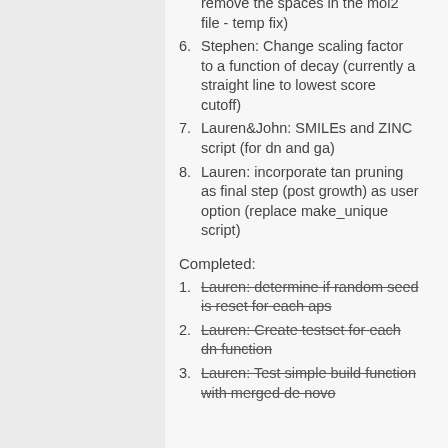remove the spaces in the mol2 file - temp fix)
Stephen: Change scaling factor to a function of decay (currently a straight line to lowest score cutoff)
Lauren&John: SMILEs and ZINC script (for dn and ga)
Lauren: incorporate tan pruning as final step (post growth) as user option (replace make_unique script)
Completed:
Lauren: determine if random seed is reset for each aps
Lauren: Create testset for each dn function
Lauren: Test simple build function with merged de novo